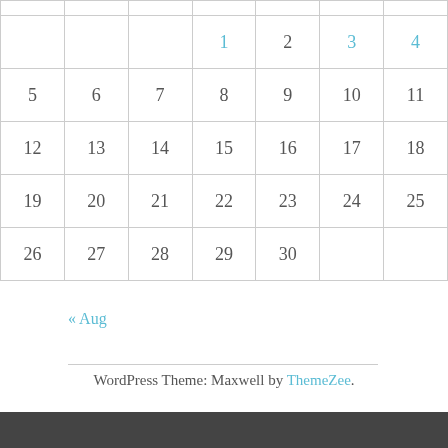|  |  |  |  |  |  |  |
| --- | --- | --- | --- | --- | --- | --- |
|  |  |  | 1 | 2 | 3 | 4 |
| 5 | 6 | 7 | 8 | 9 | 10 | 11 |
| 12 | 13 | 14 | 15 | 16 | 17 | 18 |
| 19 | 20 | 21 | 22 | 23 | 24 | 25 |
| 26 | 27 | 28 | 29 | 30 |  |  |
« Aug
WordPress Theme: Maxwell by ThemeZee.